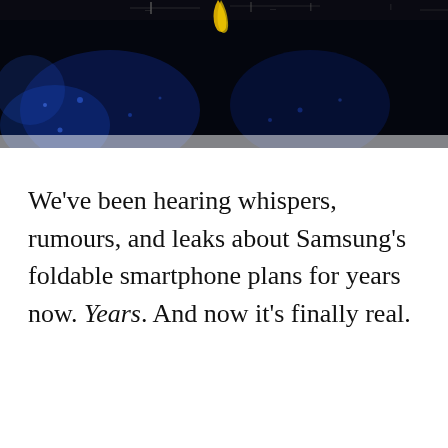[Figure (photo): Dark stage or event photo with blue lighting effects and a partial view of a yellow object (possibly a banana shape) at the top center — appears to be a Samsung product reveal event with a dark, dramatic atmosphere]
We've been hearing whispers, rumours, and leaks about Samsung's foldable smartphone plans for years now. Years. And now it's finally real.
Advertisement